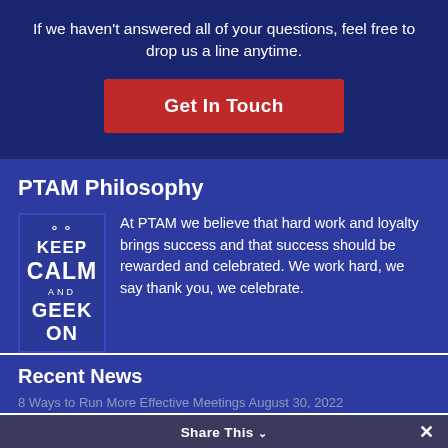If we haven't answered all of your questions, feel free to drop us a line anytime.
[Figure (other): Red button with white text reading 'Get In Touch']
PTAM Philosophy
[Figure (illustration): Keep Calm and Geek On image with glasses icon]
At PTAM we believe that hard work and loyalty brings success and that success should be rewarded and celebrated. We work hard, we say thank you, we celebrate.
Recent News
8 Ways to Run More Effective Meetings August 30, 2022
Share This ∨  ✕